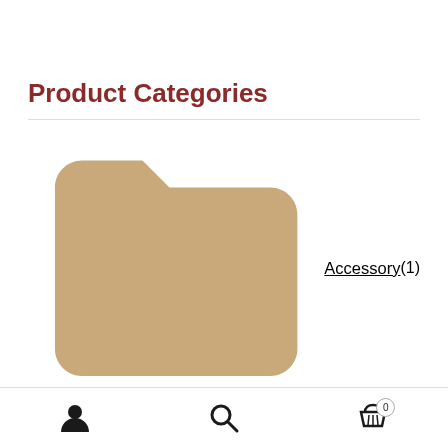Product Categories
Accessory (1)
Ear Cuff Jewelry (109)
Bridal Wedding Occasions (23)
Helix Cartilage Ear Cuffs (20)
Unique Ear Cuff Wraps (33)
Viking Celtic Ear Cuffs (11)